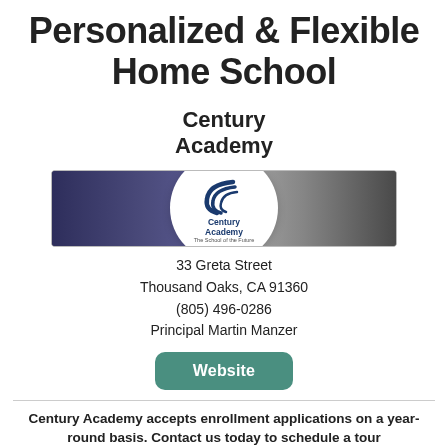Personalized & Flexible Home School
Century Academy
[Figure (photo): Group photo of students in graduation caps and gowns on the left, Century Academy logo circle in the center, and a group of teenage students on the right side.]
33 Greta Street
Thousand Oaks, CA 91360
(805) 496-0286
Principal Martin Manzer
Website
Century Academy accepts enrollment applications on a year-round basis. Contact us today to schedule a tour